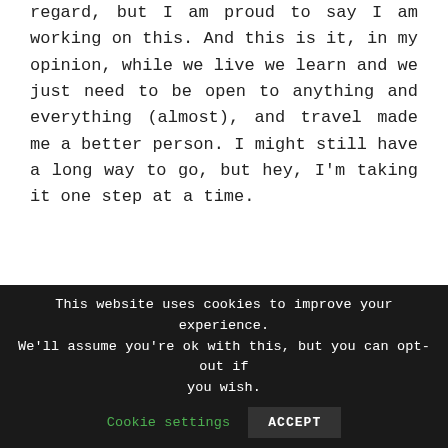regard, but I am proud to say I am working on this. And this is it, in my opinion, while we live we learn and we just need to be open to anything and everything (almost), and travel made me a better person. I might still have a long way to go, but hey, I'm taking it one step at a time.
[Figure (other): Amazon product widget showing a book titled 'The Dalai Lama's Cat' with Amazon logo and orange arrow, and a book cover image of a cat against a blue background.]
This website uses cookies to improve your experience. We'll assume you're ok with this, but you can opt-out if you wish. Cookie settings ACCEPT